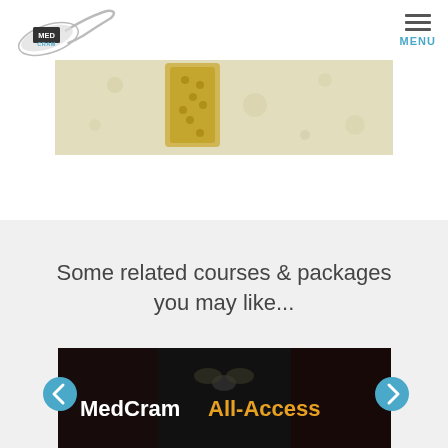MedCram — MENU
[Figure (photo): Close-up microscope image of a urine sediment or biological sample showing yellowish granular cast with pale background]
Some related courses & packages you may like...
[Figure (photo): MedCram All-Access course banner with dark background collage of medical illustrations and the text 'MedCram All-Access' in white and yellow with left/right navigation arrows]